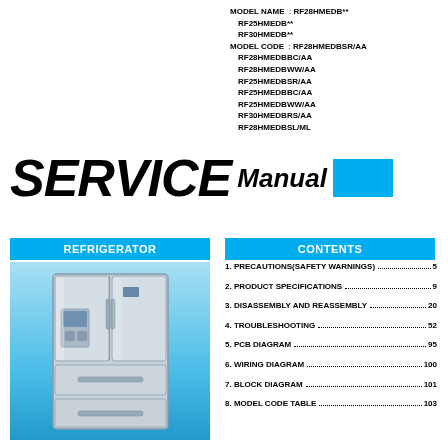MODEL NAME : RF28HMEDB**
RF25HMEDB**
RF30HMEDB**
MODEL CODE : RF28HMEDBSR/AA
RF28HMEDBBC/AA
RF28HMEDBWW/AA
RF25HMEDBSR/AA
RF25HMEDBBC/AA
RF25HMEDBWW/AA
RF30HMEDBRS/AA
RF28HMEDBSL/ML
SERVICE Manual
REFRIGERATOR
CONTENTS
[Figure (illustration): Samsung French door refrigerator with four doors, stainless steel finish, water/ice dispenser on left door, shown against blue gradient background]
1. PRECAUTIONS(SAFETY WARNINGS) 5
2. PRODUCT SPECIFICATIONS 9
3. DISASSEMBLY AND REASSEMBLY 20
4. TROUBLESHOOTING 52
5. PCB DIAGRAM 95
6. WIRING DIAGRAM 100
7. BLOCK DIAGRAM 101
8. MODEL CODE TABLE 103